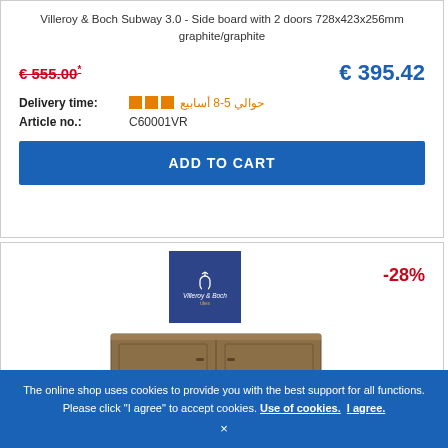Villeroy & Boch Subway 3.0 - Side board with 2 doors 728x423x256mm graphite/graphite
€ 555.00* (old price, strikethrough) | € 395.42 (new price)
Delivery time: ■■■ حوالي 5-8 أسابيع
Article no.: C60001VR
ADD TO CART
[Figure (logo): Villeroy & Boch logo on dark blue background]
-28%
[Figure (photo): Villeroy & Boch Subway 3.0 side board furniture product image]
The online shop uses cookies to provide you with the best support for all functions. Please click "I agree" to accept cookies. Use of cookies. I agree.
×